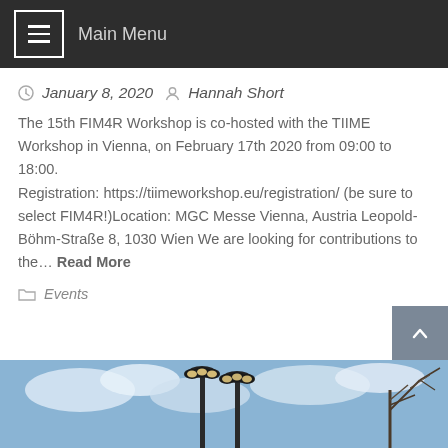Main Menu
January 8, 2020  Hannah Short
The 15th FIM4R Workshop is co-hosted with the TIIME Workshop in Vienna, on February 17th 2020 from 09:00 to 18:00.
Registration: https://tiimeworkshop.eu/registration/ (be sure to select FIM4R!)Location: MGC Messe Vienna, Austria Leopold-Böhm-Straße 8, 1030 Wien We are looking for contributions to the… Read More
Events
[Figure (photo): Outdoor photo showing street lamps against a blue sky with clouds and bare tree branches visible on the right side]